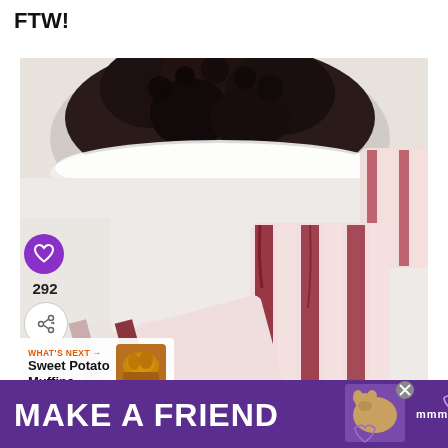FTW!
[Figure (photo): Close-up food photo showing dark berry popsicles with pink and white striped pattern, a white bowl of dark berries in background, on white surface. Social interaction buttons (heart icon, 292 count, share icon) overlay the left side.]
WHAT'S NEXT →
Sweet Potato Muffins
[Figure (photo): Thumbnail image of Sweet Potato Muffins]
[Figure (infographic): Advertisement banner: MAKE A FRIEND with dog image and heart icons on purple background, with close button and mmm logo]